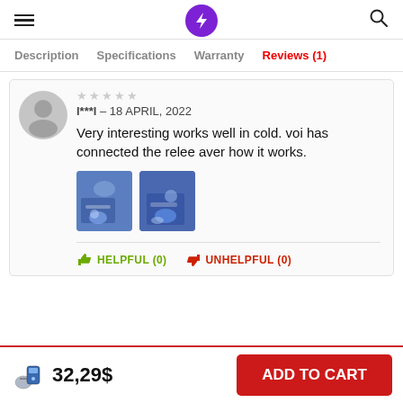Navigation header with hamburger menu, lightning bolt logo, and search icon
Description   Specifications   Warranty   Reviews (1)
l***l – 18 APRIL, 2022
Very interesting works well in cold. voi has connected the relee aver how it works.
[Figure (photo): Two small review photos of an electronic device with blue LED lighting]
HELPFUL (0)   UNHELPFUL (0)
32,29$
ADD TO CART